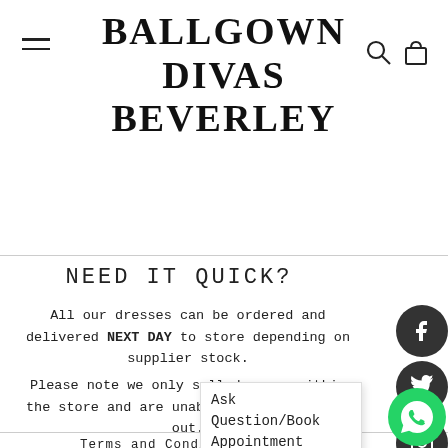BALLGOWN DIVAS BEVERLEY
NEED IT QUICK?
All our dresses can be ordered and delivered NEXT DAY to store depending on supplier stock.
Please note we only sell dresses within the store and are unable to post dresses out.
Terms and Conditions
Returns Polic
Cookie Polic
Ask Question/Book Appointment